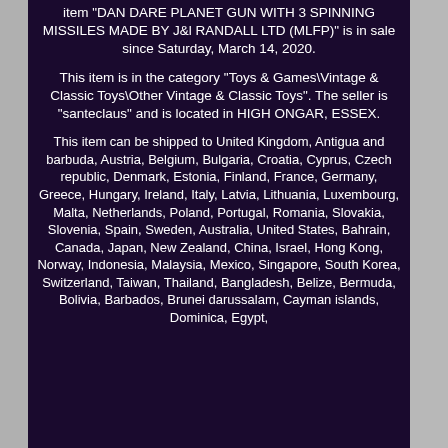item "DAN DARE PLANET GUN WITH 3 SPINNING MISSILES MADE BY J&l RANDALL LTD (MLFP)" is in sale since Saturday, March 14, 2020.
This item is in the category "Toys & Games\Vintage & Classic Toys\Other Vintage & Classic Toys". The seller is "santeclaus" and is located in HIGH ONGAR, ESSEX.
This item can be shipped to United Kingdom, Antigua and barbuda, Austria, Belgium, Bulgaria, Croatia, Cyprus, Czech republic, Denmark, Estonia, Finland, France, Germany, Greece, Hungary, Ireland, Italy, Latvia, Lithuania, Luxembourg, Malta, Netherlands, Poland, Portugal, Romania, Slovakia, Slovenia, Spain, Sweden, Australia, United States, Bahrain, Canada, Japan, New Zealand, China, Israel, Hong Kong, Norway, Indonesia, Malaysia, Mexico, Singapore, South Korea, Switzerland, Taiwan, Thailand, Bangladesh, Belize, Bermuda, Bolivia, Barbados, Brunei darussalam, Cayman islands, Dominica, Egypt,